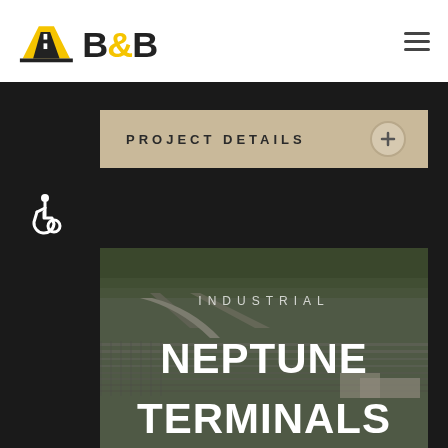[Figure (logo): B&B company logo with yellow road/bridge icon and bold B&B text]
PROJECT DETAILS
[Figure (photo): Aerial photograph of Neptune Terminals industrial rail yard with tracks and roads visible]
INDUSTRIAL
NEPTUNE TERMINALS